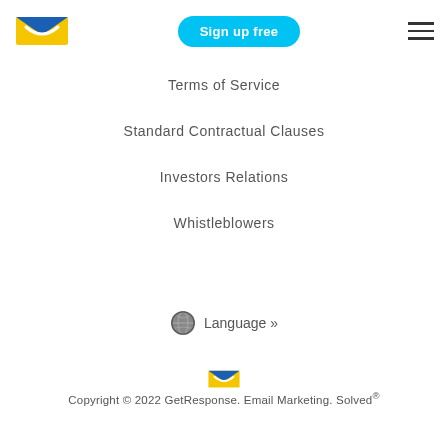[Figure (logo): GetResponse envelope logo — blue and yellow envelope icon]
Sign up free
[Figure (illustration): Hamburger menu icon — three horizontal lines]
Terms of Service
Standard Contractual Clauses
Investors Relations
Whistleblowers
Language »
[Figure (logo): GetResponse small envelope logo icon]
Copyright © 2022 GetResponse. Email Marketing. Solved®